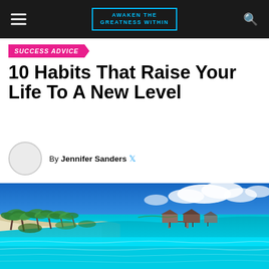AWAKEN THE GREATNESS WITHIN
SUCCESS ADVICE
10 Habits That Raise Your Life To A New Level
By Jennifer Sanders
[Figure (photo): Tropical beach scene with turquoise water, white sand, palm trees on the left shore, and over-water bungalows in the background under a blue sky with clouds.]